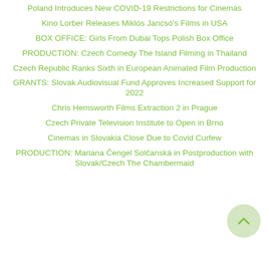Poland Introduces New COVID-19 Restrictions for Cinemas
Kino Lorber Releases Miklós Jancsó's Films in USA
BOX OFFICE: Girls From Dubai Tops Polish Box Office
PRODUCTION: Czech Comedy The Island Filming in Thailand
Czech Republic Ranks Sixth in European Animated Film Production
GRANTS: Slovak Audiovisual Fund Approves Increased Support for 2022
Chris Hemsworth Films Extraction 2 in Prague
Czech Private Television Institute to Open in Brno
Cinemas in Slovakia Close Due to Covid Curfew
PRODUCTION: Mariana Čengel Solčanská in Postproduction with Slovak/Czech The Chambermaid